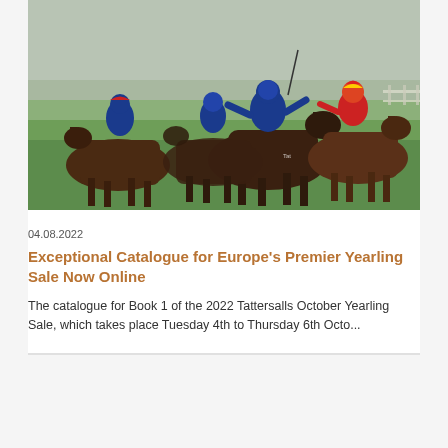[Figure (photo): Horse racing photo showing multiple jockeys racing on brown horses, with the lead horse and jockey in blue silks coming forward, another jockey in red and yellow helmet to the right, and more horses behind, on a green grass track]
04.08.2022
Exceptional Catalogue for Europe's Premier Yearling Sale Now Online
The catalogue for Book 1 of the 2022 Tattersalls October Yearling Sale, which takes place Tuesday 4th to Thursday 6th Octo...